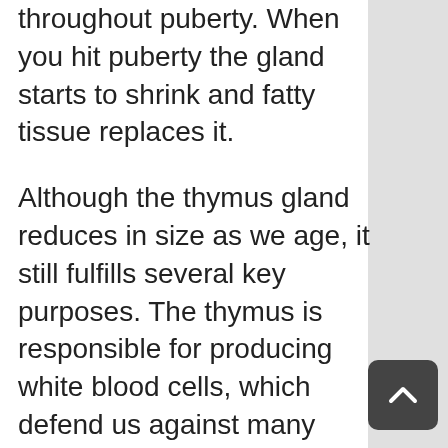throughout puberty. When you hit puberty the gland starts to shrink and fatty tissue replaces it.
Although the thymus gland reduces in size as we age, it still fulfills several key purposes. The thymus is responsible for producing white blood cells, which defend us against many types of infections, and it creates hormones, such as